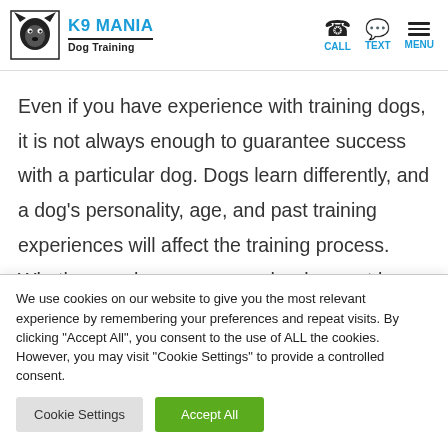K9 MANIA Dog Training — CALL TEXT MENU
Even if you have experience with training dogs, it is not always enough to guarantee success with a particular dog. Dogs learn differently, and a dog's personality, age, and past training experiences will affect the training process. Whether you have a puppy who does not know the first thing about commands or manners or have an older dog
We use cookies on our website to give you the most relevant experience by remembering your preferences and repeat visits. By clicking "Accept All", you consent to the use of ALL the cookies. However, you may visit "Cookie Settings" to provide a controlled consent.